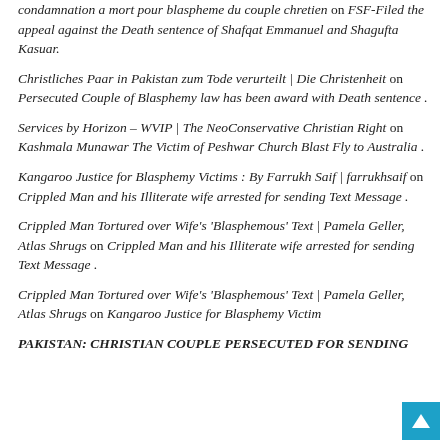condamnation a mort pour blaspheme du couple chretien on FSF-Filed the appeal against the Death sentence of Shafqat Emmanuel and Shagufta Kasuar.
Christliches Paar in Pakistan zum Tode verurteilt | Die Christenheit on Persecuted Couple of Blasphemy law has been award with Death sentence .
Services by Horizon – WVIP | The NeoConservative Christian Right on Kashmala Munawar The Victim of Peshwar Church Blast Fly to Australia .
Kangaroo Justice for Blasphemy Victims : By Farrukh Saif | farrukhsaif on Crippled Man and his Illiterate wife arrested for sending Text Message .
Crippled Man Tortured over Wife's 'Blasphemous' Text | Pamela Geller, Atlas Shrugs on Crippled Man and his Illiterate wife arrested for sending Text Message .
Crippled Man Tortured over Wife's 'Blasphemous' Text | Pamela Geller, Atlas Shrugs on Kangaroo Justice for Blasphemy Victim
PAKISTAN: CHRISTIAN COUPLE PERSECUTED FOR SENDING